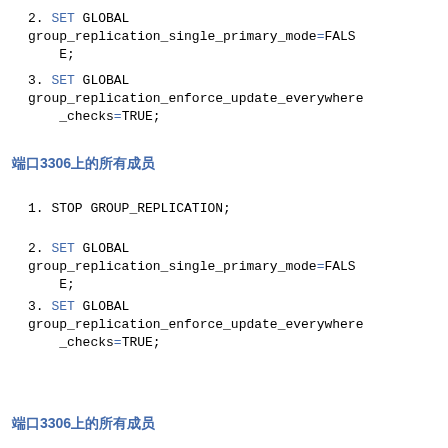2. SET GLOBAL group_replication_single_primary_mode=FALSE;
3. SET GLOBAL group_replication_enforce_update_everywhere_checks=TRUE;
端口3306上的所有成员
1. STOP GROUP_REPLICATION;
2. SET GLOBAL group_replication_single_primary_mode=FALSE;
3. SET GLOBAL group_replication_enforce_update_everywhere_checks=TRUE;
端口3306上的所有成员